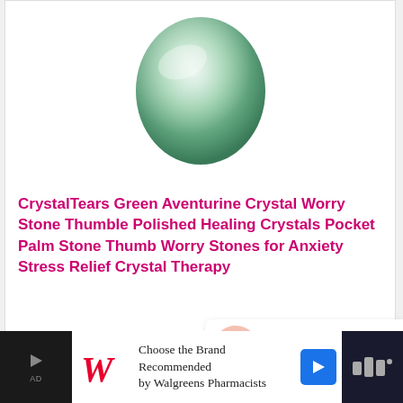[Figure (photo): Green aventurine polished oval worry stone on white background]
CrystalTears Green Aventurine Crystal Worry Stone Thumble Polished Healing Crystals Pocket Palm Stone Thumb Worry Stones for Anxiety Stress Relief Crystal Therapy
[Figure (logo): Amazon Prime logo with orange checkmark and blue italic 'Prime' text]
[Figure (screenshot): Amazon Check Price button in yellow/gold color]
[Figure (infographic): WHAT'S NEXT arrow label with thumbnail and text '5 Magical Crystals For...']
[Figure (screenshot): Walgreens advertisement bar: 'Choose the Brand Recommended by Walgreens Pharmacists']